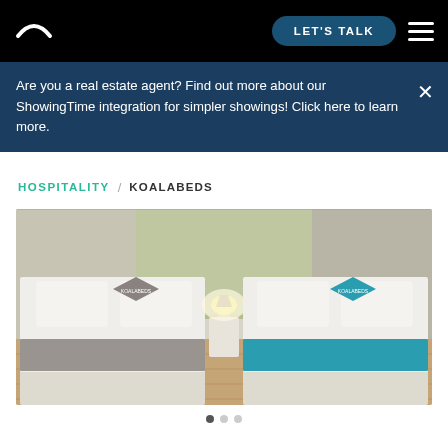LET'S TALK  [hamburger menu]
Are you a real estate agent? Find out more about our ShowingTime integration for simpler showings! Click here to learn more.
HOSPITALITY / KOALABEDS
[Figure (photo): Hotel room with two double beds, green accent wall, white bedding, grey runner on left bed, blue runner on right bed, lamp between the beds on a white side table, wood-look floor.]